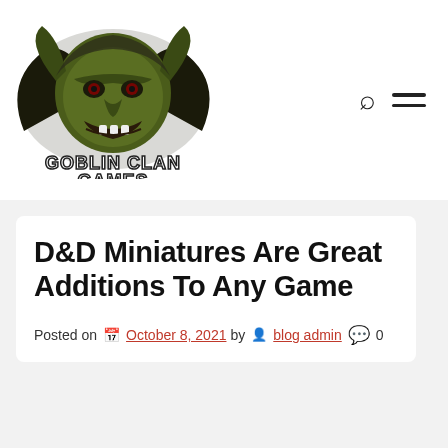[Figure (logo): Goblin Clan Games logo featuring a green goblin face with large ears and the text GOBLIN CLAN GAMES in stylized font]
D&D Miniatures Are Great Additions To Any Game
Posted on  October 8, 2021 by  blog admin  0